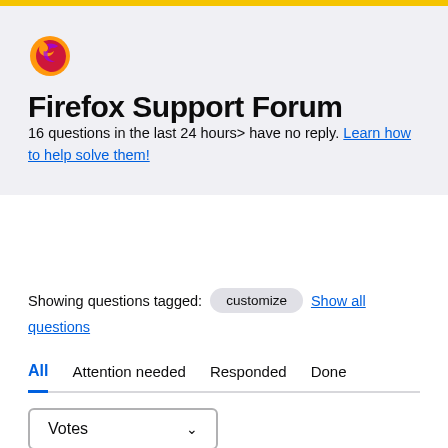Firefox Support Forum
16 questions in the last 24 hours> have no reply. Learn how to help solve them!
Showing questions tagged: customize  Show all questions
All  Attention needed  Responded  Done
Votes